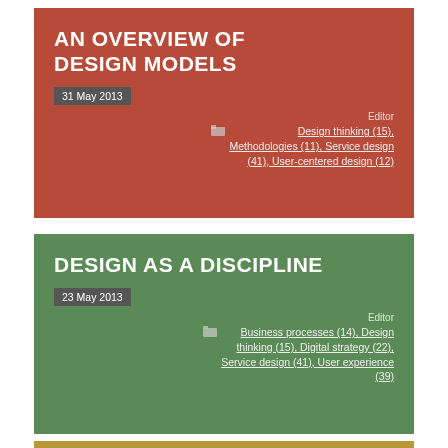AN OVERVIEW OF DESIGN MODELS
31 May 2013
Editor
Design thinking (15), Methodologies (11), Service design (41), User-centered design (12)
DESIGN AS A DISCIPLINE
23 May 2013
Editor
Business processes (14), Design thinking (15), Digital strategy (22), Service design (41), User experience (39)